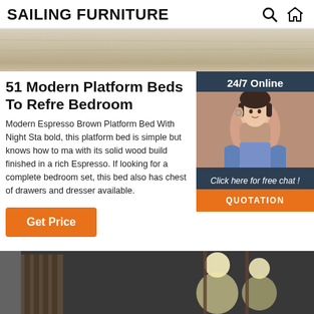SAILING FURNITURE
[Figure (photo): Banner image showing a light wood floor texture]
51 Modern Platform Beds To Refresh Your Bedroom
Modern Espresso Brown Platform Bed With Night Stand bold, this platform bed is simple but knows how to make with its solid wood build finished in a rich Espresso. If looking for a complete bedroom set, this bed also has chest of drawers and dresser available.
[Figure (photo): Customer service representative - woman with headset, 24/7 Online chat widget with dark blue background and orange QUOTATION button]
Get Price
[Figure (photo): Bottom banner image showing a bedroom with wall sconce lights]